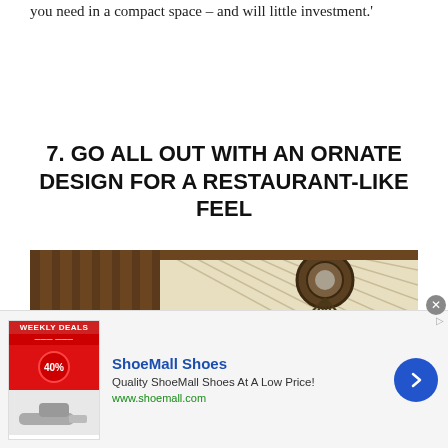you need in a compact space – and will little investment.'
7. GO ALL OUT WITH AN ORNATE DESIGN FOR A RESTAURANT-LIKE FEEL
[Figure (photo): Interior photo of an ornate staircase with dark wood banisters, decorative balustrades, and a hanging chandelier with amber glass shades, viewed from below with a white beadboard ceiling.]
[Figure (infographic): Advertisement for ShoeMall Shoes showing a weekly deals banner, product images of shoes, the ShoeMall Shoes brand name in blue, tagline 'Quality ShoeMall Shoes At A Low Price!', and the URL www.shoemall.com, with a blue circular arrow button.]